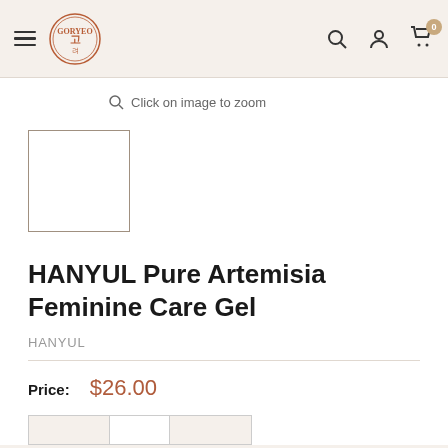GORYEO [logo] | search | account | cart (0)
Click on image to zoom
[Figure (photo): Empty product thumbnail placeholder box with a light brown border]
HANYUL Pure Artemisia Feminine Care Gel
HANYUL
Price: $26.00